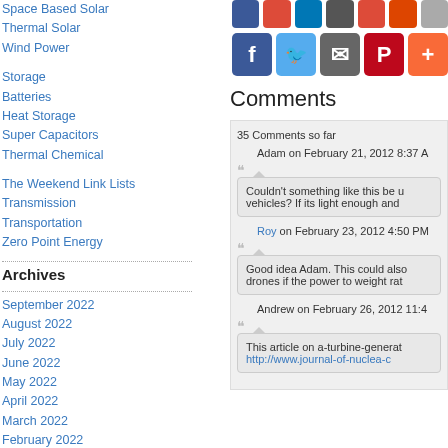Space Based Solar
Thermal Solar
Wind Power
Storage
Batteries
Heat Storage
Super Capacitors
Thermal Chemical
The Weekend Link Lists
Transmission
Transportation
Zero Point Energy
Archives
September 2022
August 2022
July 2022
June 2022
May 2022
April 2022
March 2022
February 2022
January 2022
[Figure (other): Social sharing icons row - partially visible top row and bottom row with Facebook, Twitter, email, Pinterest, and plus button]
Comments
35 Comments so far
Adam on February 21, 2012 8:37 A
Couldn't something like this be u vehicles? If its light enough and
Roy on February 23, 2012 4:50 PM
Good idea Adam. This could also drones if the power to weight rat
Andrew on February 26, 2012 11:4
This article on a-turbine-generat
http://www.journal-of-nuclea-c